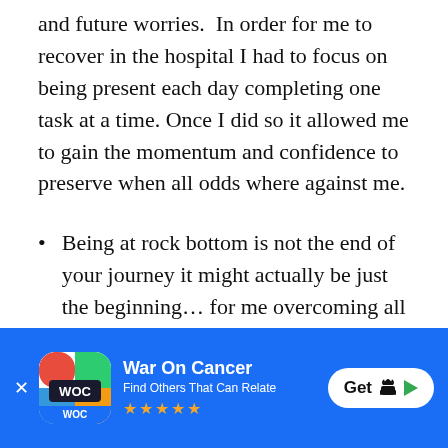and future worries.  In order for me to recover in the hospital I had to focus on being present each day completing one task at a time. Once I did so it allowed me to gain the momentum and confidence to preserve when all odds where against me.
Being at rock bottom is not the end of your journey it might actually be just the beginning... for me overcoming all of the most difficult obstacles of my life allowed me to ultimately find a new and greater purpose in my life and this can be the same for you if you look at each
[Figure (other): App download banner for 'War On Cancer' app with blue background, app icon (WOC logo), app name, tagline 'Find Others That Can Relate', five gold stars, and a Get button with Apple and Google Play icons]